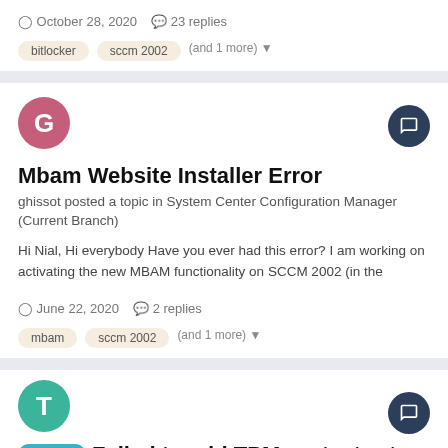October 28, 2020  23 replies
bitlocker  sccm 2002  (and 1 more)
Mbam Website Installer Error
ghissot posted a topic in System Center Configuration Manager (Current Branch)
Hi Nial, Hi everybody Have you ever had this error? I am working on activating the new MBAM functionality on SCCM 2002 (in the
June 22, 2020  2 replies
mbam  sccm 2002  (and 1 more)
dell tpm  Failed to add TPM protector to OS device exit code 1